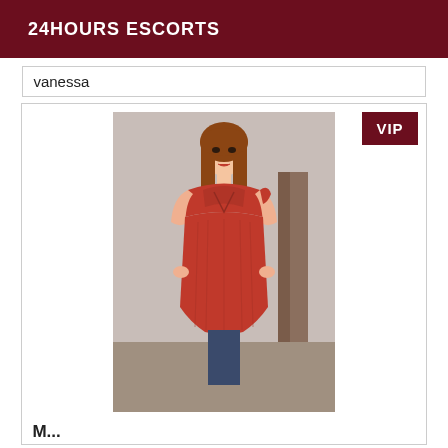24HOURS ESCORTS
vanessa
[Figure (photo): Woman with red hair wearing a red off-shoulder lace dress, posing indoors]
M...